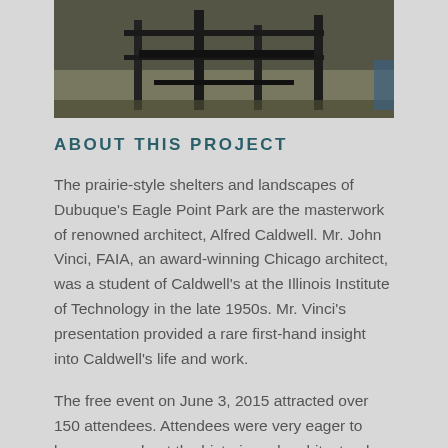[Figure (photo): Partial view of a prairie-style outdoor structure or furniture (appears to be a picnic table or shelter) with metal/wood elements on a stone or concrete surface.]
ABOUT THIS PROJECT
The prairie-style shelters and landscapes of Dubuque's Eagle Point Park are the masterwork of renowned architect, Alfred Caldwell. Mr. John Vinci, FAIA, an award-winning Chicago architect, was a student of Caldwell's at the Illinois Institute of Technology in the late 1950s. Mr. Vinci's presentation provided a rare first-hand insight into Caldwell's life and work.
The free event on June 3, 2015 attracted over 150 attendees. Attendees were very eager to learn more about the historic and architectural significance Eagle Point Park,